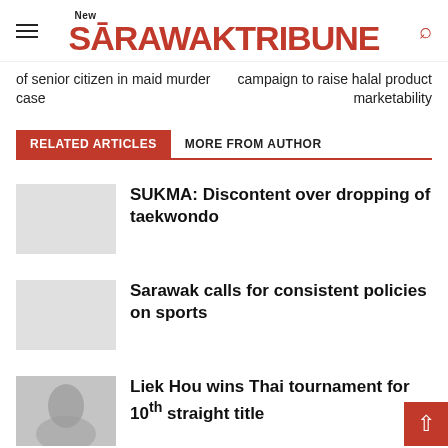New Sarawak Tribune
of senior citizen in maid murder case
campaign to raise halal product marketability
RELATED ARTICLES | MORE FROM AUTHOR
SUKMA: Discontent over dropping of taekwondo
Sarawak calls for consistent policies on sports
Liek Hou wins Thai tournament for 10th straight title